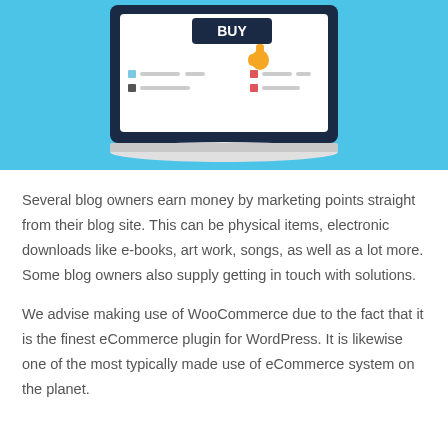[Figure (illustration): Illustration of a laptop screen showing a BUY button with a hand cursor pointing at it, on a blue background. The screen also shows some placeholder list items and icons.]
Several blog owners earn money by marketing points straight from their blog site. This can be physical items, electronic downloads like e-books, art work, songs, as well as a lot more. Some blog owners also supply getting in touch with solutions.
We advise making use of WooCommerce due to the fact that it is the finest eCommerce plugin for WordPress. It is likewise one of the most typically made use of eCommerce system on the planet.